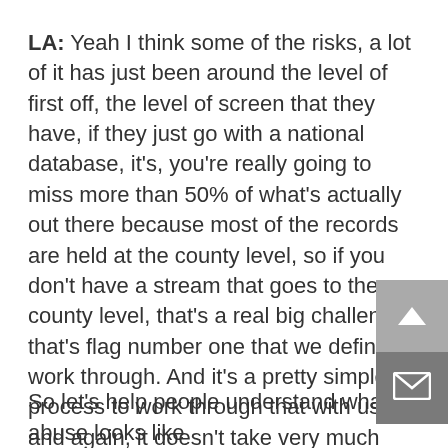LA: Yeah I think some of the risks, a lot of it has just been around the level of first off, the level of screen that they have, if they just go with a national database, it's, you're really going to miss more than 50% of what's actually out there because most of the records are held at the county level, so if you don't have a stream that goes to the county level, that's a real big challenge, that's flag number one that we definitely work through. And it's a pretty simple process to work through that with us, and again, it doesn't take very much time, but you know again, that's just more of the education side of things. And then as you look a little bit further beyond that, rather than find the bad actors that are out there, let's prevent them from even being a part of our program.
So let's help people understand what abuse looks like